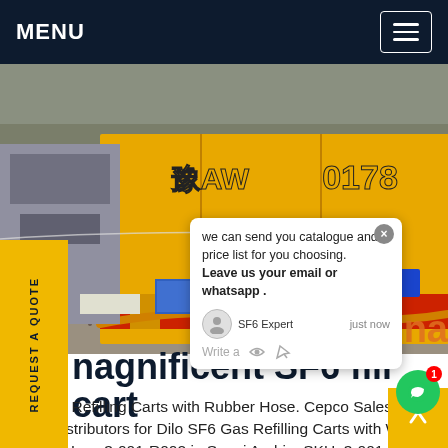MENU
[Figure (photo): Yellow SF6 gas refilling cart truck (license plate W0178) at an industrial site, with hoses and equipment visible on gravel ground]
we can send you catalogue and price list for you choosing. Leave us your email or whatsapp .
SF6 Expert   just now
Write a
REQUEST A QUOTE
magnificent SF6 fill cart
SF6 Gas Refilling Carts with Rubber Hose. Cepco Sales are official distributors for Dilo SF6 Gas Refilling Carts with Wire Braided Hose 3-001-R002 in Saudi Arabia. SKU: 3-001-R002 Categories: SF6 Gas